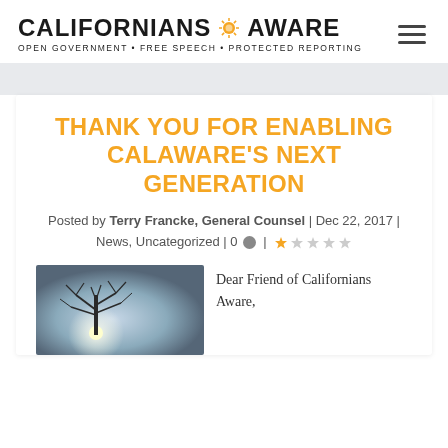[Figure (logo): Californians Aware logo with sun icon and tagline: OPEN GOVERNMENT • FREE SPEECH • PROTECTED REPORTING]
THANK YOU FOR ENABLING CALAWARE'S NEXT GENERATION
Posted by Terry Francke, General Counsel | Dec 22, 2017 | News, Uncategorized | 0 💬 | ★☆☆☆☆
[Figure (photo): Winter tree with bare branches against a gray sky with a light source behind it]
Dear Friend of Californians Aware,